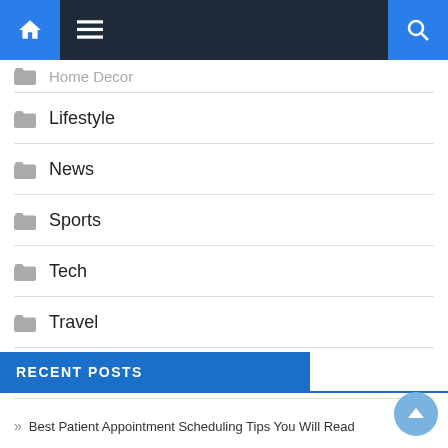Navigation bar with home, menu, and search icons
Home Decor (partially visible, cut off at top)
Lifestyle
News
Sports
Tech
Travel
Uncategorized
RECENT POSTS
» Best Patient Appointment Scheduling Tips You Will Read